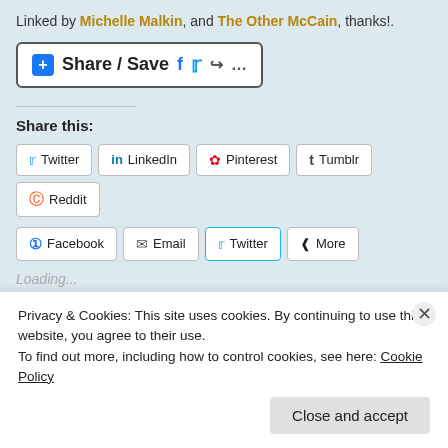Linked by Michelle Malkin, and The Other McCain, thanks!.
[Figure (screenshot): Share/Save button with Facebook, Twitter and share icons]
Share this:
[Figure (screenshot): Social share buttons: Twitter, LinkedIn, Pinterest, Tumblr, Reddit, Facebook, Email, Twitter, More]
Loading...
Privacy & Cookies: This site uses cookies. By continuing to use this website, you agree to their use. To find out more, including how to control cookies, see here: Cookie Policy
Close and accept